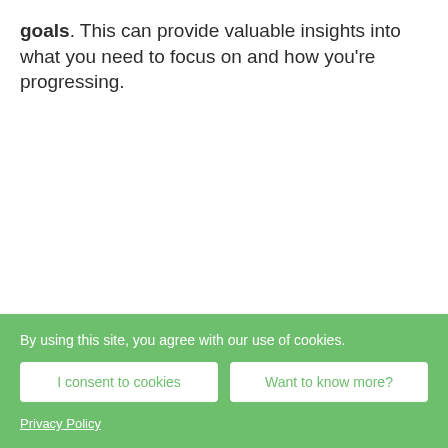goals. This can provide valuable insights into what you need to focus on and how you're progressing.
By using this site, you agree with our use of cookies.
I consent to cookies
Want to know more?
Privacy Policy